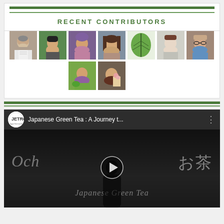RECENT CONTRIBUTORS
[Figure (photo): Grid of contributor profile photos: 7 in first row (elderly man, young Asian man, girl with purple-dyed hair, woman with long hair looking up, green leaf, pale man face, older woman with glasses), 2 in second row (woman gardening outdoors, woman with flowers smiling)]
[Figure (screenshot): YouTube video embed: JETRO logo and title 'Japanese Green Tea : A Journey t...' with play button overlay. Background shows dark scene with text 'Ocha お茶' and 'Japanese Green Tea' with person silhouette drinking.]